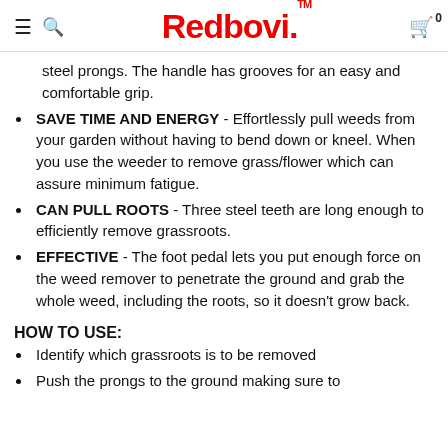Redbovi.
steel prongs. The handle has grooves for an easy and comfortable grip.
SAVE TIME AND ENERGY - Effortlessly pull weeds from your garden without having to bend down or kneel. When you use the weeder to remove grass/flower which can assure minimum fatigue.
CAN PULL ROOTS - Three steel teeth are long enough to efficiently remove grassroots.
EFFECTIVE - The foot pedal lets you put enough force on the weed remover to penetrate the ground and grab the whole weed, including the roots, so it doesn't grow back.
HOW TO USE:
Identify which grassroots is to be removed
Push the prongs to the ground making sure to